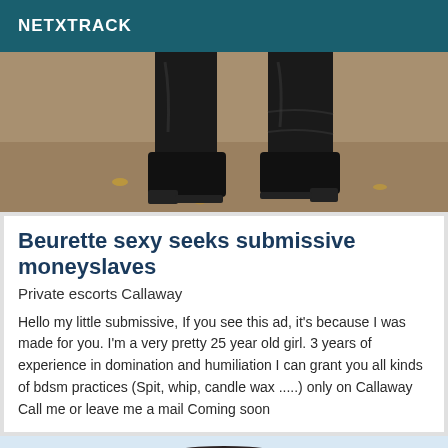NETXTRACK
[Figure (photo): Photo showing legs in black high-heeled boots on a sandy/gravel ground with fallen leaves]
Beurette sexy seeks submissive moneyslaves
Private escorts Callaway
Hello my little submissive, If you see this ad, it's because I was made for you. I'm a very pretty 25 year old girl. 3 years of experience in domination and humiliation I can grant you all kinds of bdsm practices (Spit, whip, candle wax .....) only on Callaway Call me or leave me a mail Coming soon
[Figure (photo): Partial photo showing the top of a person's head with dark hair against a light blue/sky background]